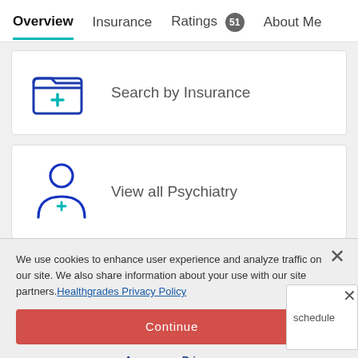Overview | Insurance | Ratings 51 | About Me
[Figure (illustration): Icon of a folder with a medical cross, representing insurance search]
Search by Insurance
[Figure (illustration): Icon of a person with a medical cross below, representing psychiatry specialty]
View all Psychiatry
We use cookies to enhance user experience and analyze traffic on our site. We also share information about your use with our site partners. Healthgrades Privacy Policy
Continue
Access my Privacy Preferences